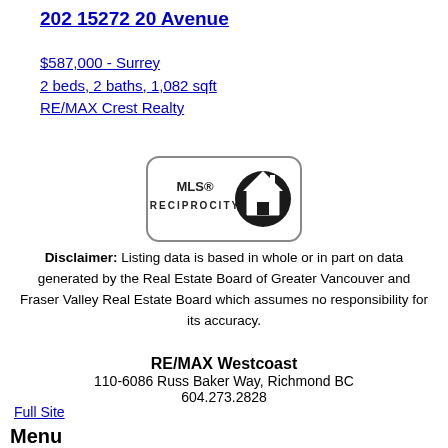202 15272 20 Avenue
$587,000 - Surrey
2 beds, 2 baths, 1,082 sqft
RE/MAX Crest Realty
[Figure (logo): MLS Reciprocity logo with house icon]
Disclaimer: Listing data is based in whole or in part on data generated by the Real Estate Board of Greater Vancouver and Fraser Valley Real Estate Board which assumes no responsibility for its accuracy.
RE/MAX Westcoast
110-6086 Russ Baker Way, Richmond BC
604.273.2828
Full Site
Menu